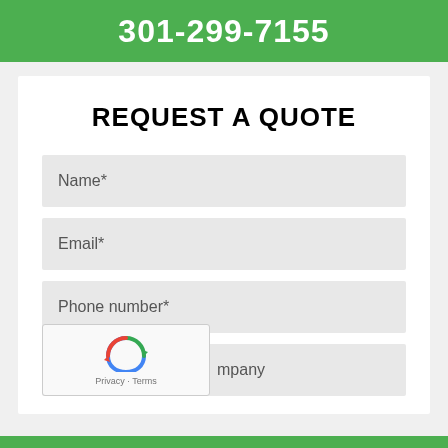301-299-7155
REQUEST A QUOTE
Name*
Email*
Phone number*
mpany